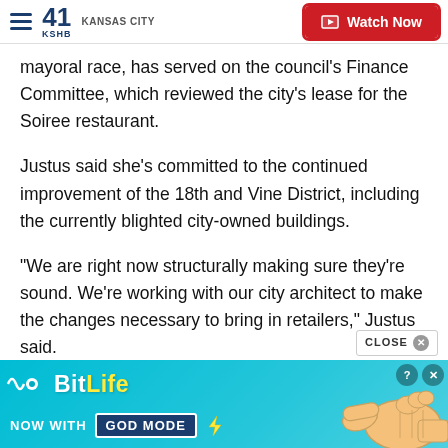41 KSHB KANSAS CITY — Watch Now
mayoral race, has served on the council's Finance Committee, which reviewed the city's lease for the Soiree restaurant.
Justus said she's committed to the continued improvement of the 18th and Vine District, including the currently blighted city-owned buildings.
"We are right now structurally making sure they're sound. We're working with our city architect to make the changes necessary to bring in retailers," Justus said.
[Figure (screenshot): BitLife advertisement banner — 'BitLife NOW WITH GOD MODE' on teal background with hand pointing graphic]